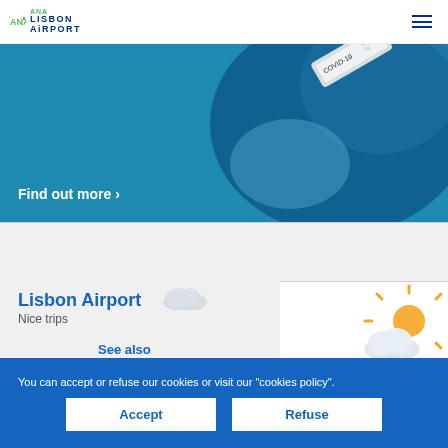ANA Lisbon Airport
[Figure (illustration): Teal/blue banner with COVID-19 test kit illustration and 'Find out more >' text]
Lisbon Airport
Nice trips
See also
ANA Lounge >
Parking >
Fast Track >
You can accept or refuse our cookies or visit our "cookies policy".